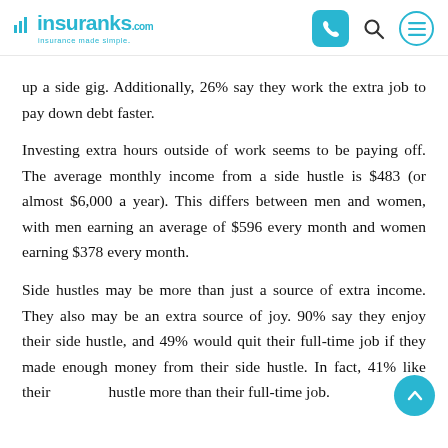insuranks - insurance made simple. [phone icon] [search icon] [menu icon]
up a side gig. Additionally, 26% say they work the extra job to pay down debt faster.
Investing extra hours outside of work seems to be paying off. The average monthly income from a side hustle is $483 (or almost $6,000 a year). This differs between men and women, with men earning an average of $596 every month and women earning $378 every month.
Side hustles may be more than just a source of extra income. They also may be an extra source of joy. 90% say they enjoy their side hustle, and 49% would quit their full-time job if they made enough money from their side hustle. In fact, 41% like their hustle more than their full-time job.